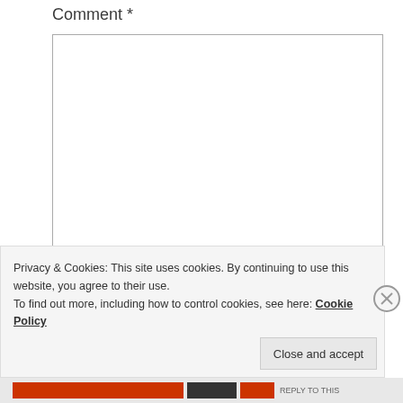Comment *
[Figure (screenshot): Comment text area input box, empty, with resize handle at bottom right]
Name *
[Figure (screenshot): Name text input field, empty]
Privacy & Cookies: This site uses cookies. By continuing to use this website, you agree to their use.
To find out more, including how to control cookies, see here: Cookie Policy
Close and accept